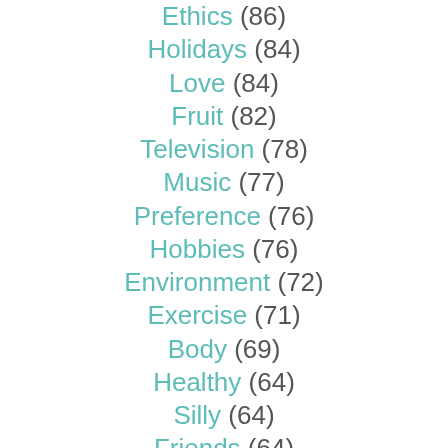Ethics (86)
Holidays (84)
Love (84)
Fruit (82)
Television (78)
Music (77)
Preference (76)
Hobbies (76)
Environment (72)
Exercise (71)
Body (69)
Healthy (64)
Silly (64)
Friends (64)
Advice (63)
Reading (63)
Marriage (62)